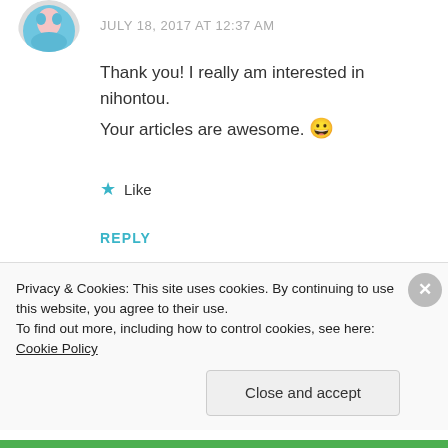[Figure (photo): Partial avatar image at top left, anime/cartoon style with teal and pink colors]
JULY 18, 2017 AT 12:37 AM
Thank you! I really am interested in nihontou.
Your articles are awesome. 😀
★ Like
REPLY
[Figure (photo): Avatar of Sou Marlen, person with dark hair, circular photo]
Sou Marlen
Privacy & Cookies: This site uses cookies. By continuing to use this website, you agree to their use.
To find out more, including how to control cookies, see here: Cookie Policy
Close and accept